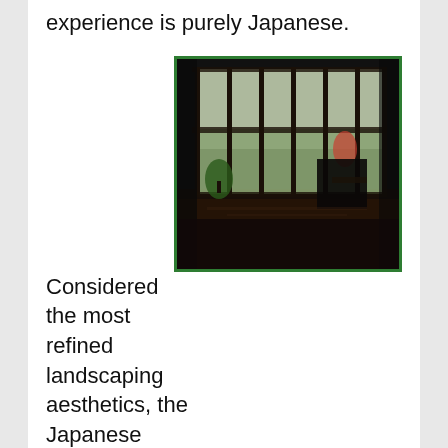the inside experience is purely Japanese.
[Figure (photo): Interior room view through large floor-to-ceiling glass sliding doors looking out onto a Japanese garden. Dark wooden floor in foreground, chairs visible, lush green garden outside.]
Considered the most refined landscaping aesthetics, the Japanese garden building tradition goes back over a thousand of years. The first gardening manual, Sakuteiki (Notes on Garden Making) was written in the mid- to-late 11th Century. While modern gardens are essentially secular in orientation, some of the most impressive gardens in Japan are found in Buddhist temples and monasteries. The Zen and Pure Land Buddhism relationship